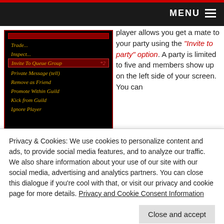MENU
[Figure (screenshot): Player context menu from a game UI showing options: Trade..., Inspect..., Invite To Queue Group *2 (highlighted in red), Private Message (tell), Remove as Friend, Promote Within Guild, Kick from Guild, Ignore Player]
Player Context Menu
player allows you get a mate to your party using the "Invite to party" option. A party is limited to five and members show up on the left side of your screen. You can
Privacy & Cookies: We use cookies to personalize content and ads, to provide social media features, and to analyze our traffic. We also share information about your use of our site with our social media, advertising and analytics partners. You can close this dialogue if you're cool with that, or visit our privacy and cookie page for more details. Privacy and Cookie Consent Information
Close and accept
System